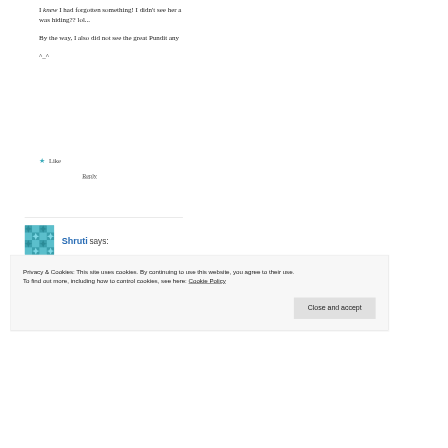I knew I had forgotten something! I didn't see her a was hiding?? lol...
By the way, I also did not see the great Pundit any
^_^
★ Like
Reply
[Figure (illustration): Teal/green geometric quilt-pattern avatar for commenter Shruti]
Shruti says:
Privacy & Cookies: This site uses cookies. By continuing to use this website, you agree to their use.
To find out more, including how to control cookies, see here: Cookie Policy
Close and accept